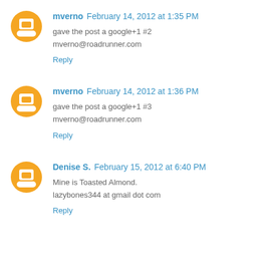mverno February 14, 2012 at 1:35 PM
gave the post a google+1 #2
mverno@roadrunner.com
Reply
mverno February 14, 2012 at 1:36 PM
gave the post a google+1 #3
mverno@roadrunner.com
Reply
Denise S. February 15, 2012 at 6:40 PM
Mine is Toasted Almond.
lazybones344 at gmail dot com
Reply